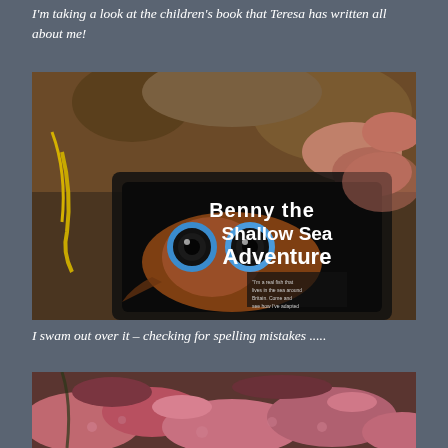I'm taking a look at the children's book that Teresa has written all about me!
[Figure (photo): Underwater photograph of a fish looking at a children's book titled 'Benny the [Blenny's] Shallow Sea Adventure', showing the book cover with a fish with large blue-ringed eyes against a rocky reef background.]
I swam out over it – checking for spelling mistakes .....
[Figure (photo): Underwater photograph showing pink coralline algae and rocky reef environment.]